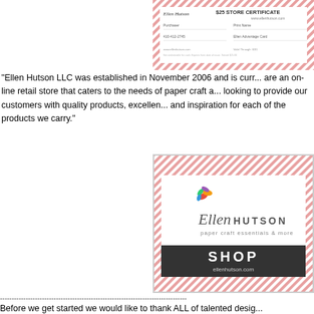[Figure (illustration): Ellen Hutson $25 Store Certificate — a cheque-style gift certificate with red diagonal stripe border, logo top-left, '$25 STORE CERTIFICATE' heading, form fields for Purchaser and Ellen Advantage Card, and fine print at bottom.]
"Ellen Hutson LLC was established in November 2006 and is currently... are an on-line retail store that caters to the needs of paper craft a... looking to provide our customers with quality products, excellen... and inspiration for each of the products we carry."
[Figure (logo): Ellen Hutson LLC logo banner: top and bottom diagonal stripe borders in red/white, center shows Ellen Hutson script/serif logo with colorful flower graphic, tagline 'paper craft essentials & more', and dark charcoal SHOP bar with 'ellenhutson.com']
--------------------------------------------------------------------------------
Before we get started we would like to thank ALL of talented desig...